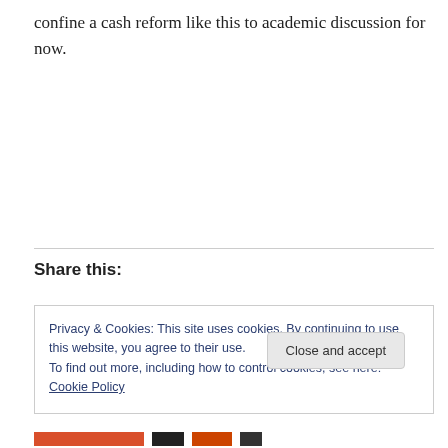confine a cash reform like this to academic discussion for now.
Share this:
Privacy & Cookies: This site uses cookies. By continuing to use this website, you agree to their use.
To find out more, including how to control cookies, see here: Cookie Policy
Close and accept